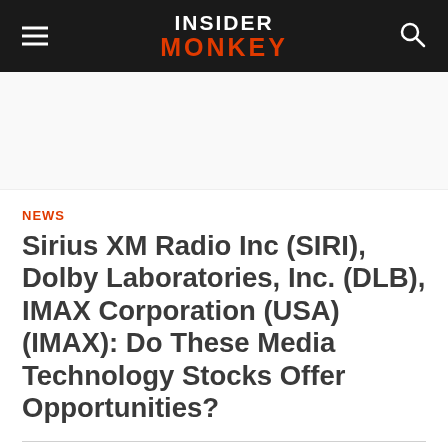INSIDER MONKEY
[Figure (other): Advertisement / blank ad space]
NEWS
Sirius XM Radio Inc (SIRI), Dolby Laboratories, Inc. (DLB), IMAX Corporation (USA) (IMAX): Do These Media Technology Stocks Offer Opportunities?
Published on August 6, 2013 at 4:34 pm by THE MOTLEY FOOL in News